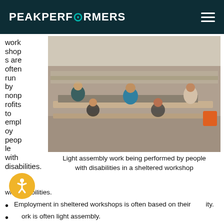PEAK PERFORMERS
workshops are often run by nonprofits to employ people with disabilities.
[Figure (photo): Light assembly work being performed by people with disabilities in a sheltered workshop. People in wheelchairs and others seated at long tables doing assembly work in a large warehouse-like space.]
Light assembly work being performed by people with disabilities in a sheltered workshop
Employment in sheltered workshops is often based on their ability.
Work is often light assembly.
Pay to people with disabilities in sheltered workshops is usually very low, sometimes even below minimum wage.
People who participate in sheltered workshops can often only